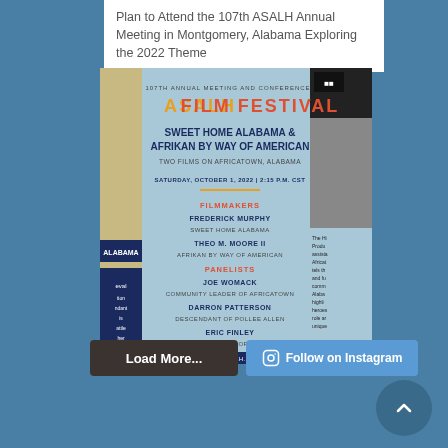Plan to Attend the 107th ASALH Annual Meeting in Montgomery, Alabama Exploring the 2022 Theme
[Figure (infographic): ASALH Film Festival poster for the 107th Annual Meeting and Conference. Features two films: Sweet Home Alabama and Afrikan By Way of American - Two Films on Africatown, Alabama. Saturday, October 1, 2022 | 2:15 P.M. CST. Filmmakers: Frederick Murphy (Sweet Home Alabama), Theo M. Moore II (Afrikan By Way of American). Panelists: Joe Womack (Community Leader of Africatown), Darron Patterson (Descendant of Pollee Allen), Eric Finley (Community Leader of Africatown). Register at www.asalh.org/register]
Load More...
Follow on Instagram